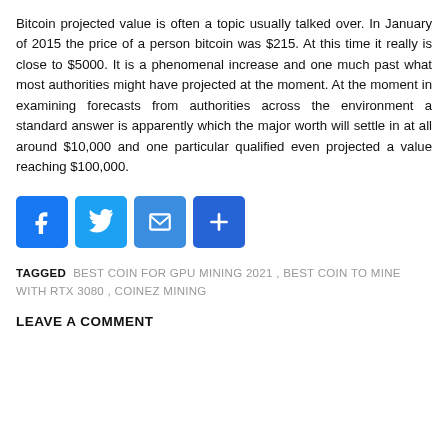Bitcoin projected value is often a topic usually talked over. In January of 2015 the price of a person bitcoin was $215. At this time it really is close to $5000. It is a phenomenal increase and one much past what most authorities might have projected at the moment. At the moment in examining forecasts from authorities across the environment a standard answer is apparently which the major worth will settle in at all around $10,000 and one particular qualified even projected a value reaching $100,000.
[Figure (infographic): Row of four social media sharing icon buttons: Facebook (blue, F), Twitter (light blue, bird), Email (blue, envelope), Share/Add (blue, plus sign)]
TAGGED BEST COIN FOR GPU MINING 2021 , BEST COIN TO MINE WITH RTX 3080 , COINEZ MINING
LEAVE A COMMENT